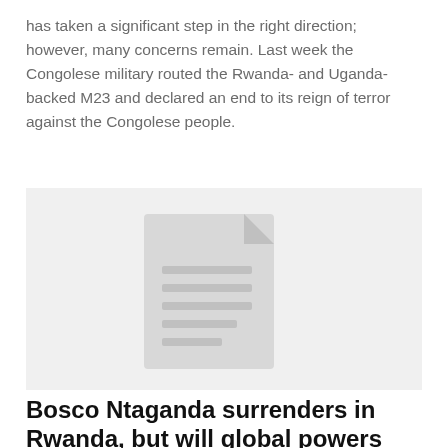has taken a significant step in the right direction; however, many concerns remain. Last week the Congolese military routed the Rwanda- and Uganda-backed M23 and declared an end to its reign of terror against the Congolese people.
[Figure (illustration): A placeholder image with a light gray background showing a generic document/file icon in a slightly darker gray in the center.]
Bosco Ntaganda surrenders in Rwanda, but will global powers hold the...
March 28, 2013
Congolese people are seeking peace and justice. Trying Bosco Ntaganda at the ICC may lead to some measure of justice for the